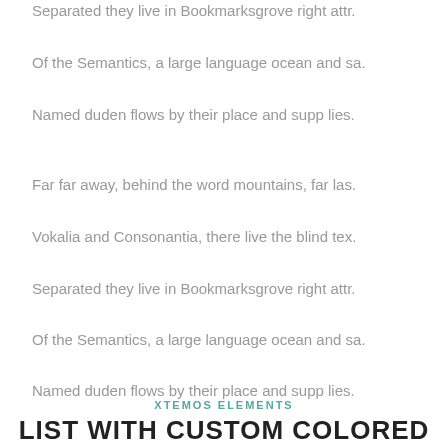Separated they live in Bookmarksgrove right attr.
Of the Semantics, a large language ocean and sa.
Named duden flows by their place and supp lies.
Far far away, behind the word mountains, far las.
Vokalia and Consonantia, there live the blind tex.
Separated they live in Bookmarksgrove right attr.
Of the Semantics, a large language ocean and sa.
Named duden flows by their place and supp lies.
XTEMOS ELEMENTS
LIST WITH CUSTOM COLORED ICON